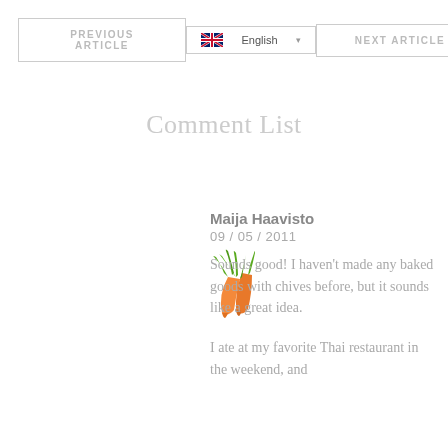PREVIOUS ARTICLE
English
NEXT ARTICLE
Comment List
[Figure (illustration): Carrot avatar illustration showing two orange carrots with green tops]
Maija Haavisto
09 / 05 / 2011
Sounds good! I haven't made any baked goods with chives before, but it sounds like a great idea.
I ate at my favorite Thai restaurant in the weekend, and
Sounds good! I haven't made any baked goods with chives before, but it sounds like a great idea.
I ate at my favorite Thai restaurant in the weekend, and